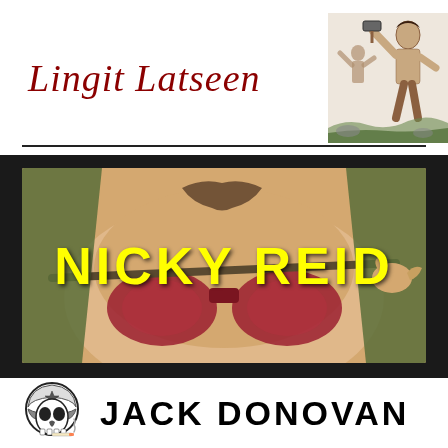[Figure (logo): Lingit Latseen blog header with italic dark red text and illustration of a warrior figure with raised hammer on the right side]
[Figure (illustration): Nicky Reid banner with illustrated comic-style background and bold yellow uppercase text 'NICKY REID' in center]
[Figure (logo): Jack Donovan logo with skull wearing motorcycle helmet on left and bold black uppercase text 'JACK DONOVAN' on right]